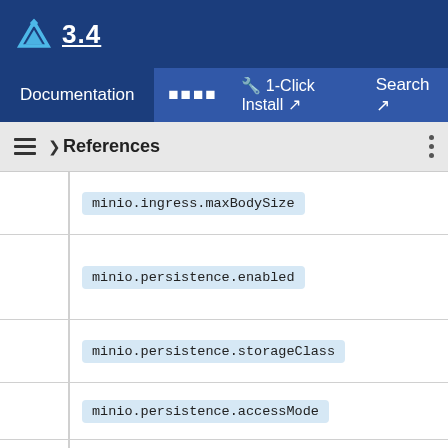3.4
Documentation | 🌐 | 🔧 1-Click Install ↗ | Search ↗
› References
minio.ingress.maxBodySize
minio.persistence.enabled
minio.persistence.storageClass
minio.persistence.accessMode
minio.persistence.size
minio.s3gateway.enabled
minio.s3gateway.replicas